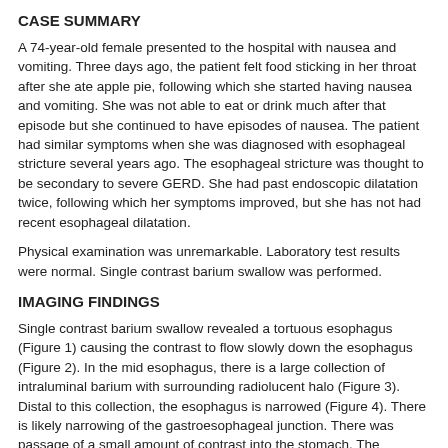CASE SUMMARY
A 74-year-old female presented to the hospital with nausea and vomiting. Three days ago, the patient felt food sticking in her throat after she ate apple pie, following which she started having nausea and vomiting. She was not able to eat or drink much after that episode but she continued to have episodes of nausea. The patient had similar symptoms when she was diagnosed with esophageal stricture several years ago. The esophageal stricture was thought to be secondary to severe GERD. She had past endoscopic dilatation twice, following which her symptoms improved, but she has not had recent esophageal dilatation.
Physical examination was unremarkable. Laboratory test results were normal. Single contrast barium swallow was performed.
IMAGING FINDINGS
Single contrast barium swallow revealed a tortuous esophagus (Figure 1) causing the contrast to flow slowly down the esophagus (Figure 2). In the mid esophagus, there is a large collection of intraluminal barium with surrounding radiolucent halo (Figure 3). Distal to this collection, the esophagus is narrowed (Figure 4). There is likely narrowing of the gastroesophageal junction. There was passage of a small amount of contrast into the stomach. The majority of the barium remained in the esophagus after 10 minutes of examination (Figure